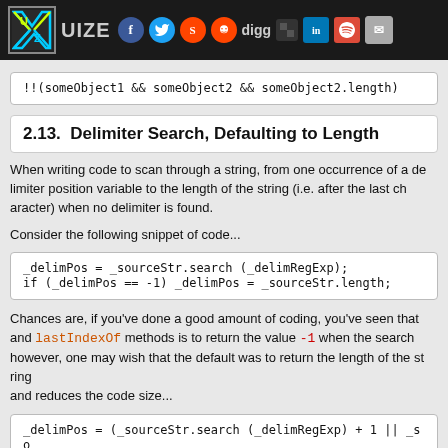UIZE [social icons]
2.13. Delimiter Search, Defaulting to Length
When writing code to scan through a string, from one occurrence of a delimiter position variable to the length of the string (i.e. after the last character) when no delimiter is found.
Consider the following snippet of code...
Chances are, if you've done a good amount of coding, you've seen that and lastIndexOf methods is to return the value -1 when the search however, one may wish that the default was to return the length of the string and reduces the code size...